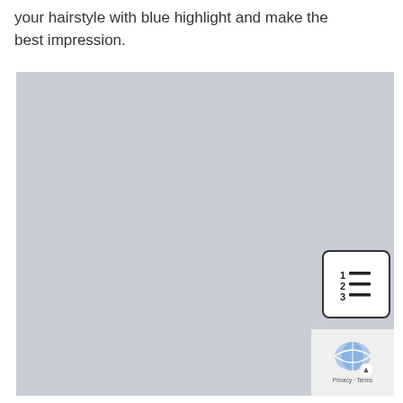your hairstyle with blue highlight and make the best impression.
[Figure (map): A light blue-grey map placeholder area with a numbered list icon overlay in the upper right corner, and a Google Maps privacy/terms overlay in the lower right corner.]